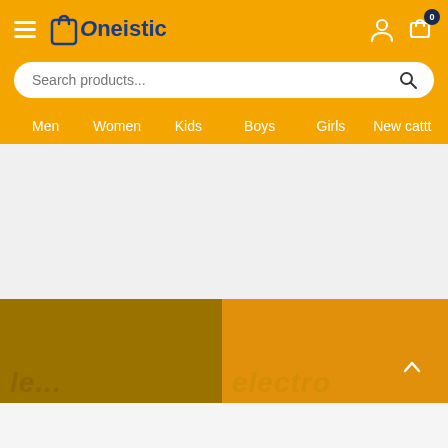[Figure (screenshot): Oneistic e-commerce website header with orange background, hamburger menu, logo, user icon, cart icon with badge 0, search bar, and navigation menu with Men, Women, Kids, Boys, Girls, New cattt]
Oneistic
Search products...
Men
Women
Kids
Boys
Girls
New cattt
[Figure (screenshot): Bottom section showing two partially visible category tiles with dark golden/amber background, partially visible text 'electro' on right tile, and a back-to-top arrow button]